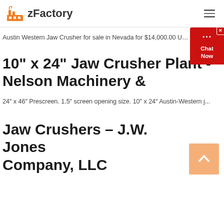zFactory
Austin Western Jaw Crusher for sale in Nevada for $14,000.00 USD. View...
10" x 24" Jaw Crusher Plant - Nelson Machinery &
24" x 46" Prescreen. 1.5" screen opening size. 10" x 24" Austin-Western j...
Jaw Crushers – J.W. Jones Company, LLC